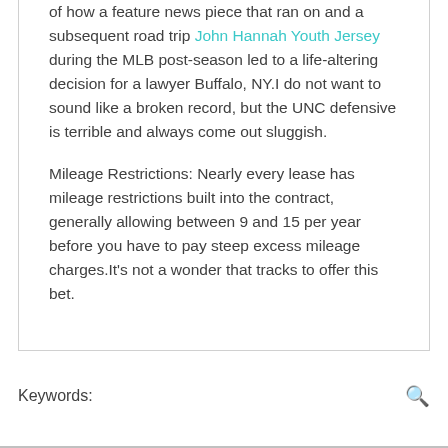of how a feature news piece that ran on and a subsequent road trip John Hannah Youth Jersey during the MLB post-season led to a life-altering decision for a lawyer Buffalo, NY.I do not want to sound like a broken record, but the UNC defensive is terrible and always come out sluggish.

Mileage Restrictions: Nearly every lease has mileage restrictions built into the contract, generally allowing between 9 and 15 per year before you have to pay steep excess mileage charges.It's not a wonder that tracks to offer this bet.
Keywords: